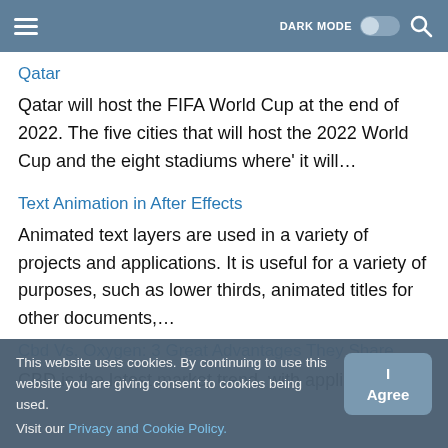DARK MODE [toggle] [search]
Qatar
Qatar will host the FIFA World Cup at the end of 2022. The five cities that will host the 2022 World Cup and the eight stadiums where' it will…
Text Animation in After Effects
Animated text layers are used in a variety of projects and applications. It is useful for a variety of purposes, such as lower thirds, animated titles for other documents,…
Cbd Vs. Oxygen: 3 Great Advantages They Share
CBD is the latest market trend, with applications
This website uses cookies. By continuing to use this website you are giving consent to cookies being used.
Visit our Privacy and Cookie Policy.